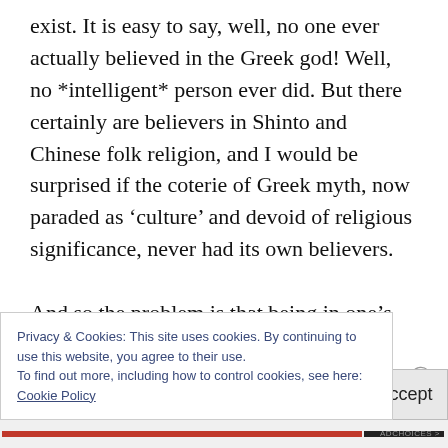exist. It is easy to say, well, no one ever actually believed in the Greek god! Well, no *intelligent* person ever did. But there certainly are believers in Shinto and Chinese folk religion, and I would be surprised if the coterie of Greek myth, now paraded as ‘culture’ and devoid of religious significance, never had its own believers.

And so the problem is that being in one’s culture one thinks one’s deity(ies) more
Privacy & Cookies: This site uses cookies. By continuing to use this website, you agree to their use.
To find out more, including how to control cookies, see here:
Cookie Policy
Close and accept